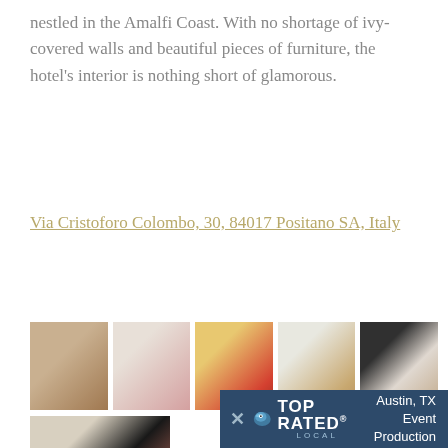nestled in the Amalfi Coast. With no shortage of ivy-covered walls and beautiful pieces of furniture, the hotel's interior is nothing short of glamorous.
Via Cristoforo Colombo, 30, 84017 Positano SA, Italy
[Figure (photo): Row of hotel interior photos: ornate lobby with arched ceiling, bedroom with red accents, colorful bedroom with red cabinets, bed with woven headboard and yellow pillows, bright room with dark door, and exterior entrance with iron gate]
[Figure (photo): Second row photo: exterior view of hotel entrance with iron gate and red seating]
[Figure (screenshot): Top Rated Local advertisement banner with blue background showing bird logo, TOP RATED LOCAL text, and Austin TX Event Production]